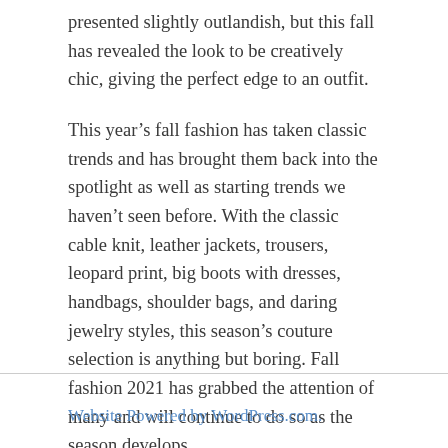presented slightly outlandish, but this fall has revealed the look to be creatively chic, giving the perfect edge to an outfit.
This year's fall fashion has taken classic trends and has brought them back into the spotlight as well as starting trends we haven't seen before. With the classic cable knit, leather jackets, trousers, leopard print, big boots with dresses, handbags, shoulder bags, and daring jewelry styles, this season's couture selection is anything but boring. Fall fashion 2021 has grabbed the attention of many and will continue to do so as the season develops.
Website Powered by WordPress.com.